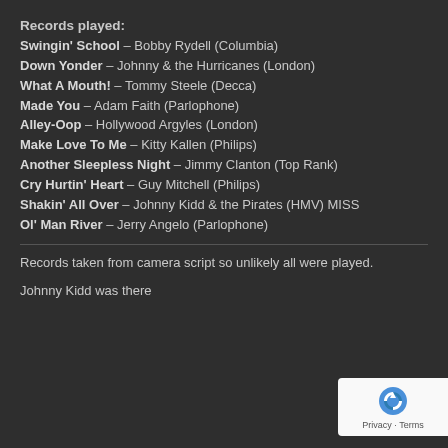Records played:
Swingin' School – Bobby Rydell (Columbia)
Down Yonder – Johnny & the Hurricanes (London)
What A Mouth! – Tommy Steele (Decca)
Made You – Adam Faith (Parlophone)
Alley-Oop – Hollywood Argyles (London)
Make Love To Me – Kitty Kallen (Philips)
Another Sleepless Night – Jimmy Clanton (Top Rank)
Cry Hurtin' Heart – Guy Mitchell (Philips)
Shakin' All Over – Johnny Kidd & the Pirates (HMV) MISS
Ol' Man River – Jerry Angelo (Parlophone)
Records taken from camera script so unlikely all were played.
Johnny Kidd was there